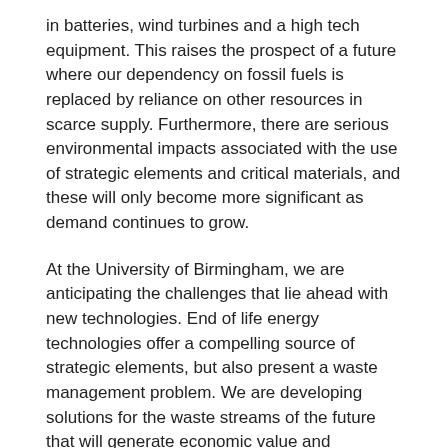in batteries, wind turbines and a high tech equipment. This raises the prospect of a future where our dependency on fossil fuels is replaced by reliance on other resources in scarce supply. Furthermore, there are serious environmental impacts associated with the use of strategic elements and critical materials, and these will only become more significant as demand continues to grow.
At the University of Birmingham, we are anticipating the challenges that lie ahead with new technologies. End of life energy technologies offer a compelling source of strategic elements, but also present a waste management problem. We are developing solutions for the waste streams of the future that will generate economic value and materials security – as well as intercepting waste materials before they pose a problem to the environment.